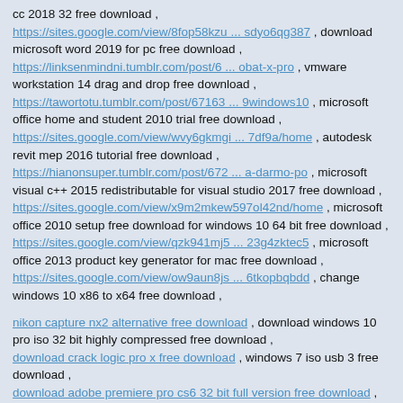cc 2018 32 free download , https://sites.google.com/view/8fop58kzu ... sdyo6qg387 , download microsoft word 2019 for pc free download , https://linksenmindni.tumblr.com/post/6 ... obat-x-pro , vmware workstation 14 drag and drop free download , https://tawortotu.tumblr.com/post/67163 ... 9windows10 , microsoft office home and student 2010 trial free download , https://sites.google.com/view/wvy6gkmgi ... 7df9a/home , autodesk revit mep 2016 tutorial free download , https://hianonsuper.tumblr.com/post/672 ... a-darmo-po , microsoft visual c++ 2015 redistributable for visual studio 2017 free download , https://sites.google.com/view/x9m2mkew597ol42nd/home , microsoft office 2010 setup free download for windows 10 64 bit free download , https://sites.google.com/view/qzk941mj5 ... 23g4zktec5 , microsoft office 2013 product key generator for mac free download , https://sites.google.com/view/ow9aun8js ... 6tkopbqbdd , change windows 10 x86 to x64 free download ,
nikon capture nx2 alternative free download , download windows 10 pro iso 32 bit highly compressed free download , download crack logic pro x free download , windows 7 iso usb 3 free download , download adobe premiere pro cs6 32 bit full version free download , serial number windows 8.1 pro 64 bit 2013 free download ,